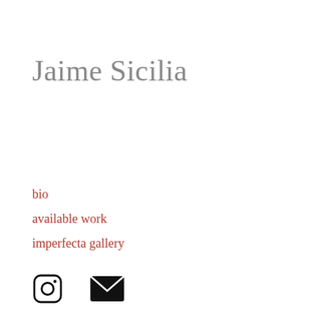Jaime Sicilia
bio
available work
imperfecta gallery
[Figure (illustration): Instagram icon (rounded square with camera outline) and email/envelope icon, both in black, side by side]